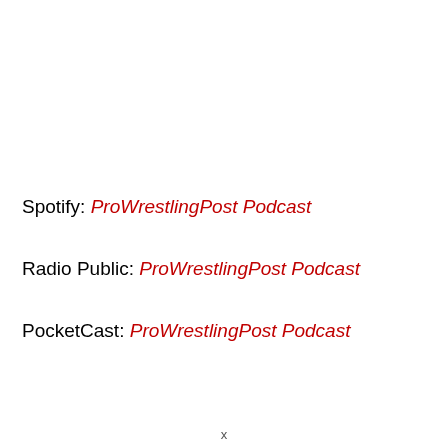Spotify: ProWrestlingPost Podcast
Radio Public: ProWrestlingPost Podcast
PocketCast: ProWrestlingPost Podcast
x